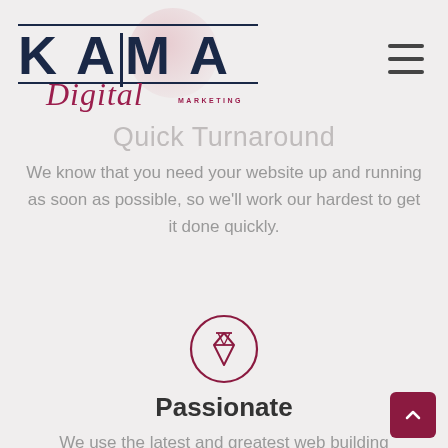[Figure (logo): Kaima Digital Marketing logo with dark blue bold 'KAIMA' text, cursive crimson 'Digital' script, horizontal lines above and below, and a faint pink circle watermark]
[Figure (other): Hamburger menu icon (three horizontal bars) in the top right corner]
Quick Turnaround
We know that you need your website up and running as soon as possible, so we'll work our hardest to get it done quickly.
[Figure (illustration): A diamond/gem icon inside a circular outline, in dark crimson/maroon color]
Passionate
We use the latest and greatest web building technology to create stunning websites that